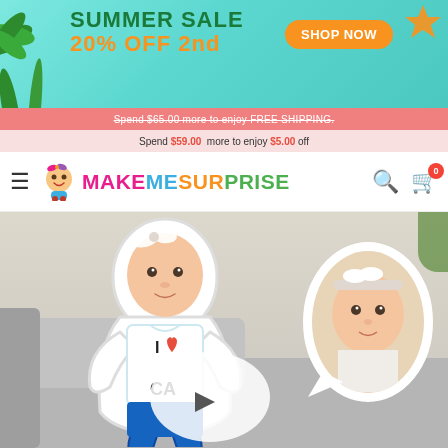[Figure (screenshot): E-commerce website screenshot for MakeMeSurprise. Shows a summer sale banner with 20% OFF, navigation bar with logo, and a product photo of a custom mini-me pillow shaped like a baby/toddler wearing I Love CA shirt with blue pants, sitting on a sofa. An oval inset shows the source baby photo.]
SUMMER SALE 20% OFF 2nd
Spend $65.00 more to enjoy FREE SHIPPING.
Spend $59.00 more to enjoy $5.00 off